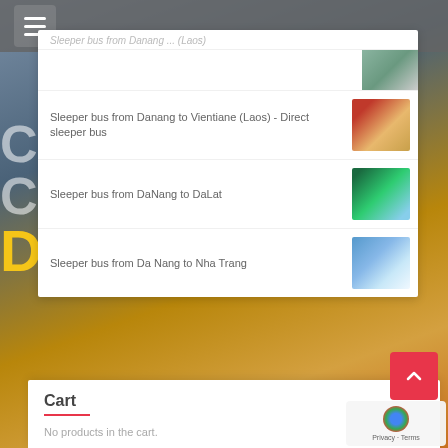Navigation menu bar with hamburger icon
Sleeper bus from Danang to Vientiane (Laos) - Direct sleeper bus
Sleeper bus from DaNang to DaLat
Sleeper bus from Da Nang to Nha Trang
Cart
No products in the cart.